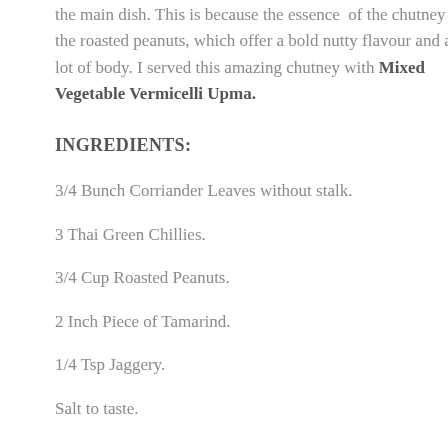the main dish. This is because the essence of the chutney is the roasted peanuts, which offer a bold nutty flavour and a lot of body. I served this amazing chutney with Mixed Vegetable Vermicelli Upma.
INGREDIENTS:
3/4 Bunch Corriander Leaves without stalk.
3 Thai Green Chillies.
3/4 Cup Roasted Peanuts.
2 Inch Piece of Tamarind.
1/4 Tsp Jaggery.
Salt to taste.